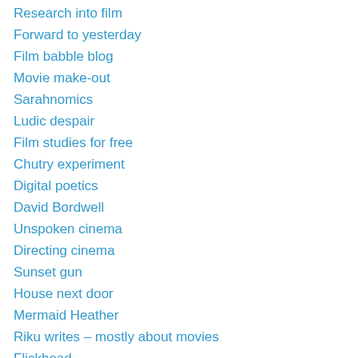Research into film
Forward to yesterday
Film babble blog
Movie make-out
Sarahnomics
Ludic despair
Film studies for free
Chutry experiment
Digital poetics
David Bordwell
Unspoken cinema
Directing cinema
Sunset gun
House next door
Mermaid Heather
Riku writes – mostly about movies
Flickhead
Wonders in the dark
Cinema du meep
Thanks for the use of the hall